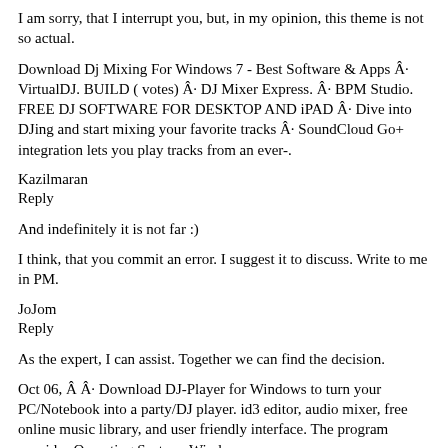I am sorry, that I interrupt you, but, in my opinion, this theme is not so actual.
Download Dj Mixing For Windows 7 - Best Software & Apps Â· VirtualDJ. BUILD ( votes) Â· DJ Mixer Express. Â· BPM Studio. FREE DJ SOFTWARE FOR DESKTOP AND iPAD Â· Dive into DJing and start mixing your favorite tracks Â· SoundCloud Go+ integration lets you play tracks from an ever-.
Kazilmaran
Reply
And indefinitely it is not far :)
I think, that you commit an error. I suggest it to discuss. Write to me in PM.
JoJom
Reply
As the expert, I can assist. Together we can find the decision.
Oct 06, Â Â· Download DJ-Player for Windows to turn your PC/Notebook into a party/DJ player. id3 editor, audio mixer, free online music library, and user friendly interface. The program provides Operating System: Windows.
Kaltilan